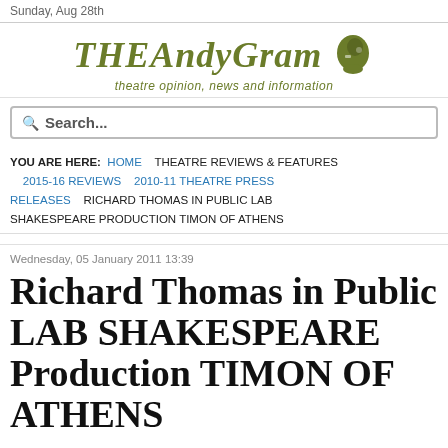Sunday, Aug 28th
[Figure (logo): TheAndyGram logo with stylized text and silhouette icon, tagline: theatre opinion, news and information]
Search...
YOU ARE HERE: HOME THEATRE REVIEWS & FEATURES 2015-16 REVIEWS 2010-11 THEATRE PRESS RELEASES RICHARD THOMAS IN PUBLIC LAB SHAKESPEARE PRODUCTION TIMON OF ATHENS
Wednesday, 05 January 2011 13:39
Richard Thomas in Public LAB SHAKESPEARE Production TIMON OF ATHENS